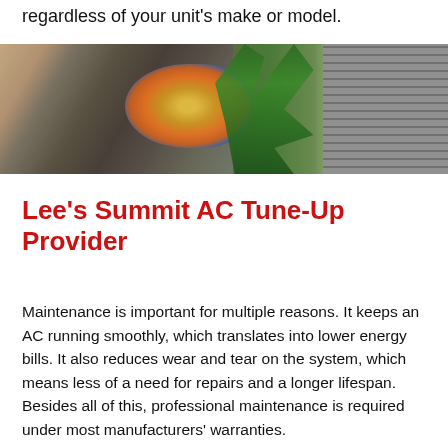regardless of your unit's make or model.
[Figure (photo): HVAC technician kneeling outdoors next to an air conditioning unit, holding colorful refrigerant gauges. Green plants visible beside the AC unit with metal grille visible on the right.]
Lee's Summit AC Tune-Up Provider
Maintenance is important for multiple reasons. It keeps an AC running smoothly, which translates into lower energy bills. It also reduces wear and tear on the system, which means less of a need for repairs and a longer lifespan. Besides all of this, professional maintenance is required under most manufacturers' warranties.